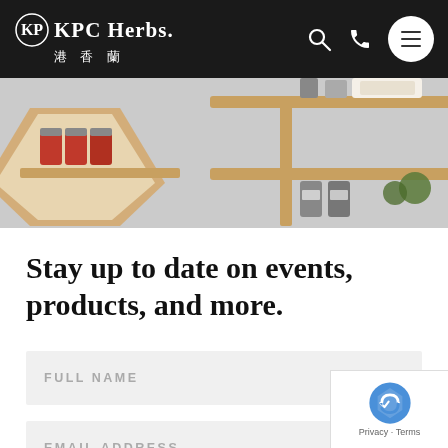[Figure (logo): KPC Herbs logo with Chinese characters 港香蘭 on dark navigation bar]
[Figure (photo): Photo of wooden hexagonal spice shelves with jars of spices and herbs]
Stay up to date on events, products, and more.
FULL NAME
EMAIL ADDRESS
[Figure (other): Google reCAPTCHA badge with Privacy and Terms links]